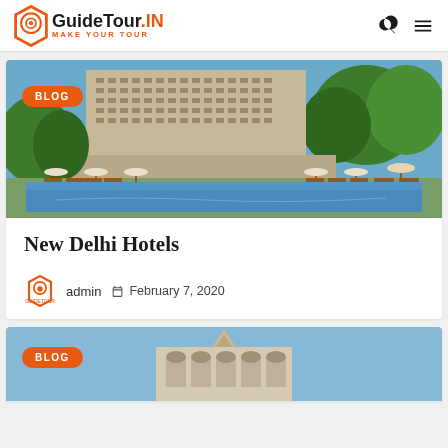GuideTour.IN - MAKE YOUR TOUR
[Figure (photo): Hotel with swimming pool, lounge chairs, and umbrellas, New Delhi hotel exterior]
BLOG
New Delhi Hotels
admin  February 7, 2020
[Figure (photo): Temple or historic building, partially visible at bottom of page]
BLOG